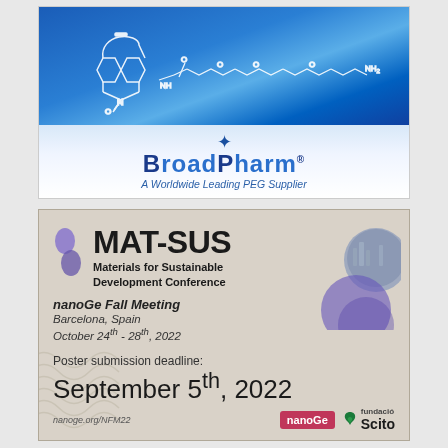[Figure (illustration): BroadPharm advertisement banner showing a chemical structure (DBCO-PEG-NH2 linker molecule) on a blue gradient background, with company logo and tagline 'A Worldwide Leading PEG Supplier']
[Figure (illustration): MAT-SUS (Materials for Sustainable Development Conference) advertisement for nanoGe Fall Meeting in Barcelona, Spain, October 24th-28th, 2022. Poster submission deadline: September 5th, 2022. Shows nanoGe and Fundació Scito logos.]